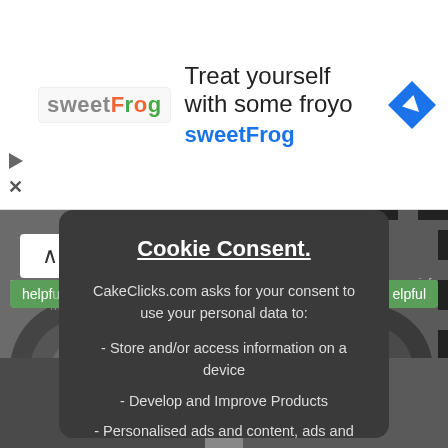[Figure (screenshot): Advertisement banner for sweetFrog frozen yogurt. Shows sweetFrog logo on left, headline 'Treat yourself with some froyo' and brand name 'sweetFrog' in center, Google Maps navigation icon on right. Play and close (X) icons on far left.]
[Figure (screenshot): Background website content showing blurred cake/tire images, helpful buttons, and page content behind a cookie consent modal overlay.]
Cookie Consent.
CakeClicks.com asks for your consent to use your personal data to:
- Store and/or access information on a device
- Develop and Improve Products
- Personalised ads and content, ads and content measurement, and audience insights
In order to provide a more personal user experience, we and our partners use technology such as cookies to store and/or access device information.